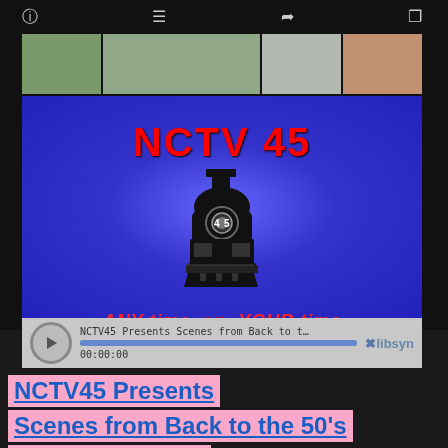[Figure (screenshot): Screenshot of a mobile app showing NCTV45 video player. Blue background with 'NCTV 45' in red bold text, a train logo with '45' on it, and tagline 'ANY time on YOUR time' in red italic. Below is a podcast player bar showing 'NCTV45 Presents Scenes from Back to the 50's June 26-2...' with timestamp 00:00:00 and libsyn branding.]
NCTV45 Presents Scenes from Back to the 50's June 26-28, 2015